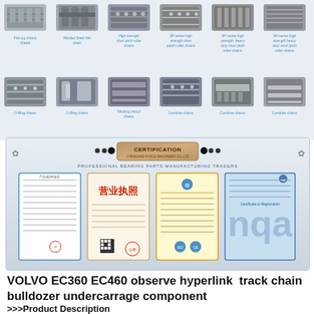[Figure (illustration): Product catalog grid showing two rows of industrial roller chains and combine chains. Top row: Flat top chains (Steel), Welded Steel Veli chain, High strength short pitch roller chains, SP series high strength short patch roller chains, SP series high strength heavy duty short pitch roller chains, SH series high strength heavy duty short pitch roller chains. Bottom row: O-Ring chains, O-Ring chains, Welding tractor chains, Combine chains, Combine chains, Combine chains.]
[Figure (photo): Certification display showing a decorative header with CERTIFICATION badge, text PROFESSIONAL BEARING PARTS MANUFACTURING TRADERS, and four certification documents: a quality inspection certificate, a Chinese business license (营业执照), an ISO or product certificate with yellow background, and an NQA certificate of registration (blue).]
VOLVO EC360 EC460 observe hyperlink  track chain bulldozer undercarrage component
>>>Product Description